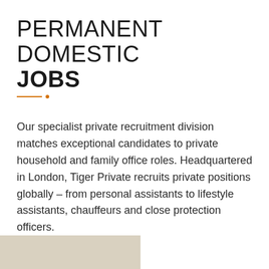PERMANENT DOMESTIC JOBS
Our specialist private recruitment division matches exceptional candidates to private household and family office roles. Headquartered in London, Tiger Private recruits private positions globally – from personal assistants to lifestyle assistants, chauffeurs and close protection officers.